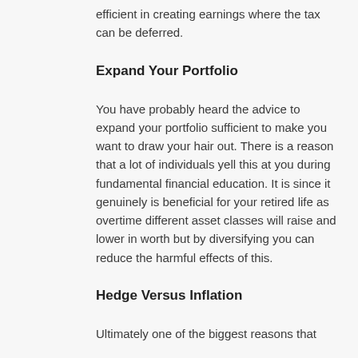efficient in creating earnings where the tax can be deferred.
Expand Your Portfolio
You have probably heard the advice to expand your portfolio sufficient to make you want to draw your hair out. There is a reason that a lot of individuals yell this at you during fundamental financial education. It is since it genuinely is beneficial for your retired life as overtime different asset classes will raise and lower in worth but by diversifying you can reduce the harmful effects of this.
Hedge Versus Inflation
Ultimately one of the biggest reasons that